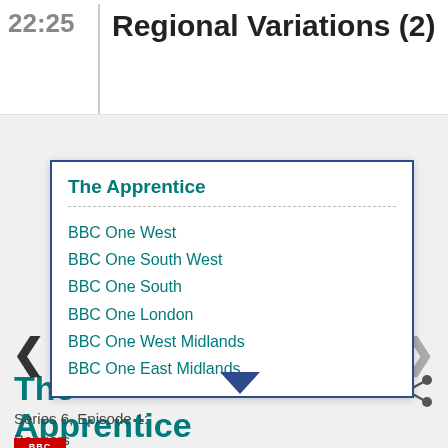22:25
Regional Variations (2)
The Apprentice
BBC One West
BBC One South West
BBC One South
BBC One London
BBC One West Midlands
BBC One East Midlands
The Apprentice
Series 6, Episode 1: Bangers
BBC One